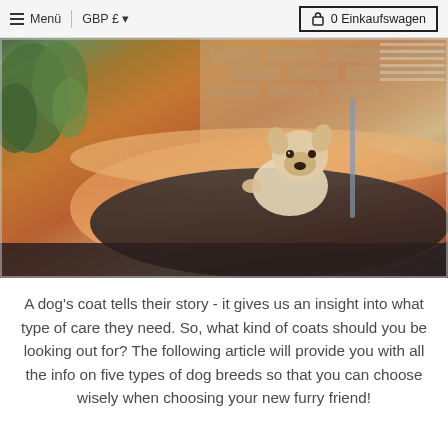Menü  |  GBP £ ▼    🔒 0 Einkaufswagen
[Figure (photo): A French Bulldog sitting inside a large copper bathtub, with green plants and brick wall visible in the background.]
A dog's coat tells their story - it gives us an insight into what type of care they need. So, what kind of coats should you be looking out for? The following article will provide you with all the info on five types of dog breeds so that you can choose wisely when choosing your new furry friend!